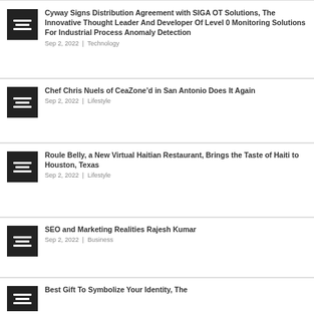Cyway Signs Distribution Agreement with SIGA OT Solutions, The Innovative Thought Leader And Developer Of Level 0 Monitoring Solutions For Industrial Process Anomaly Detection | Sep 2, 2022 | Technology
Chef Chris Nuels of CeaZone’d in San Antonio Does It Again | Sep 2, 2022 | Lifestyle
Roule Belly, a New Virtual Haitian Restaurant, Brings the Taste of Haiti to Houston, Texas | Sep 2, 2022 | Lifestyle
SEO and Marketing Realities Rajesh Kumar | Sep 2, 2022 | Business
Best Gift To Symbolize Your Identity, The